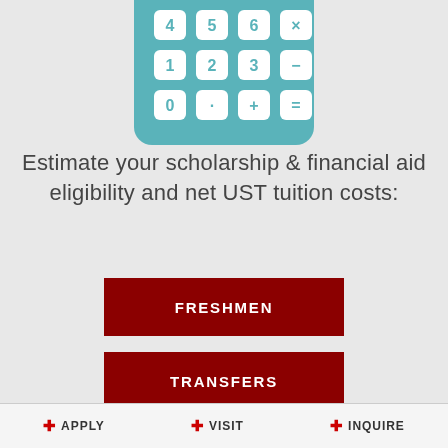[Figure (illustration): Partial view of a teal/blue-green calculator graphic showing numeric keypad buttons: 4,5,6,×, 1,2,3,−, 0,·,+,= on white rounded rectangle buttons]
Estimate your scholarship & financial aid eligibility and net UST tuition costs:
FRESHMEN
TRANSFERS
Great news!
+ APPLY   + VISIT   + INQUIRE